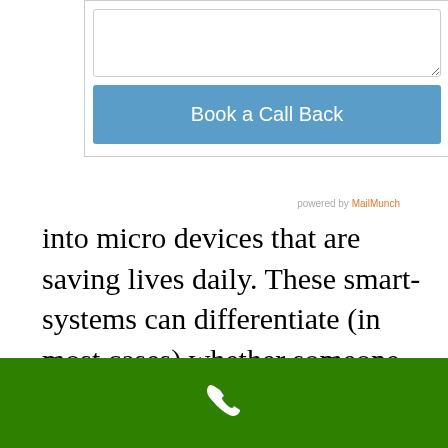[Figure (screenshot): A modal popup form with a textarea input and a blue 'Book a Call Back' button, with 'powered by MailMunch' credit text]
into micro devices that are saving lives daily. These smart-systems can differentiate (in most cases) whether someone has really fallen, or if someone has to sat down abruptly.
In addition to the above details, such necklaces can also be fitted with extremely micro, lightweight and non-intrusive
[Figure (other): Green footer bar with a white phone icon]